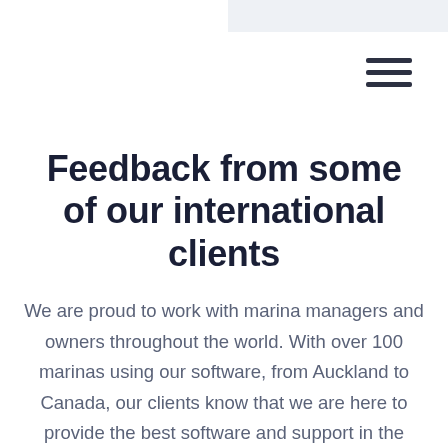Feedback from some of our international clients
We are proud to work with marina managers and owners throughout the world. With over 100 marinas using our software, from Auckland to Canada, our clients know that we are here to provide the best software and support in the industry.